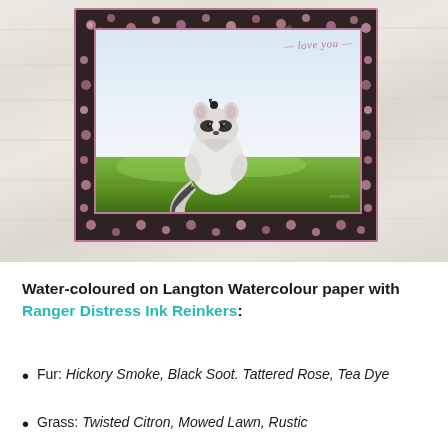[Figure (photo): A handmade greeting card on a wood-grain background. The card features a dark floral border with pink roses, a white inner panel showing a watercolored raccoon sitting on grass looking upward, with blue sky. A cursive 'love you' sentiment die-cut appears at the top right of the card.]
Water-coloured on Langton Watercolour paper with Ranger Distress Ink Reinkers:
Fur: Hickory Smoke, Black Soot. Tattered Rose, Tea Dye
Grass: Twisted Citron, Mowed Lawn, Rustic